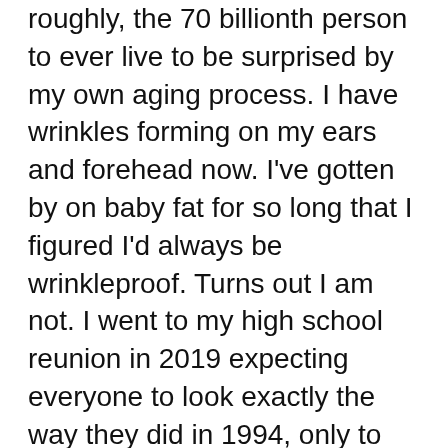roughly, the 70 billionth person to ever live to be surprised by my own aging process. I have wrinkles forming on my ears and forehead now. I've gotten by on baby fat for so long that I figured I'd always be wrinkleproof. Turns out I am not. I went to my high school reunion in 2019 expecting everyone to look exactly the way they did in 1994, only to walk into a room of standard issue moms and dads. I somehow didn't foresee all of that.
The rest I've now seen, and it barely fazes me. Right now Twitter is essentially a depression contest, with everyone screaming that civilization is in decline and seeing who can declare themselves the most run down by it. Those lamentations get old, and every generation before me has indulged in them. None of it is new. Evil is here. Evil has been here. Evil